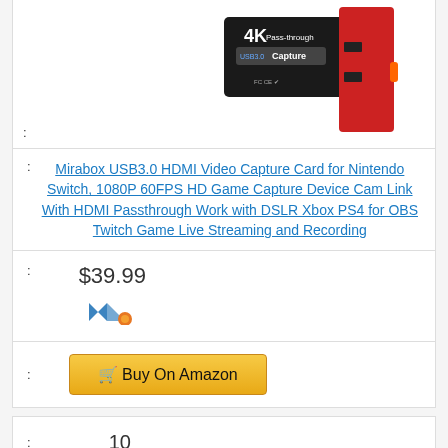[Figure (photo): Product photo of a Mirabox USB3.0 HDMI Video Capture Card device, black and red colored, with '4K Pass-through USB3.0 Capture' text on the device]
:
: Mirabox USB3.0 HDMI Video Capture Card for Nintendo Switch, 1080P 60FPS HD Game Capture Device Cam Link With HDMI Passthrough Work with DSLR Xbox PS4 for OBS Twitch Game Live Streaming and Recording
: $39.99
[Figure (logo): Amazon seller or brand logo, partially visible, blue and orange icon]
: Buy On Amazon
: 10